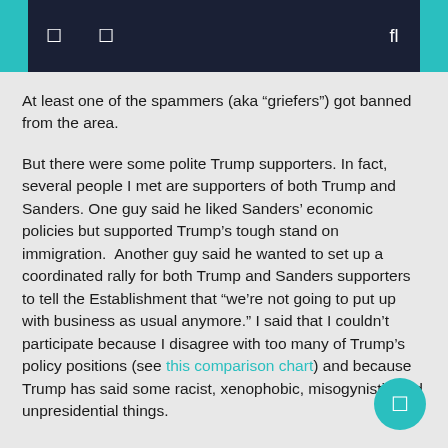[navigation bar with icons]
At least one of the spammers (aka “griefers”) got banned from the area.
But there were some polite Trump supporters. In fact, several people I met are supporters of both Trump and Sanders. One guy said he liked Sanders’ economic policies but supported Trump’s tough stand on immigration.  Another guy said he wanted to set up a coordinated rally for both Trump and Sanders supporters to tell the Establishment that “we’re not going to put up with business as usual anymore.” I said that I couldn’t participate because I disagree with too many of Trump’s policy positions (see this comparison chart) and because Trump has said some racist, xenophobic, misogynistic and unpresidential things.